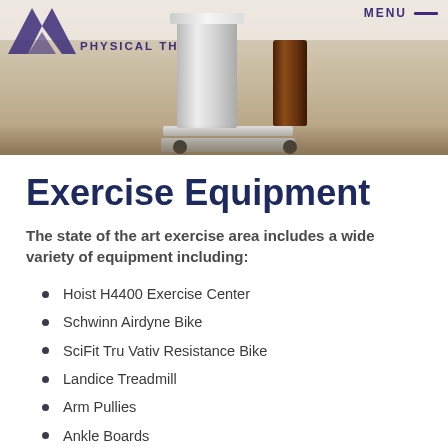[Figure (photo): Header photo showing physical therapy clinic with stainless steel cart and logo overlay. Logo reads 'PHYSICAL THERAPY' with arrow graphic. Menu button visible top right.]
Exercise Equipment
The state of the art exercise area includes a wide variety of equipment including:
Hoist H4400 Exercise Center
Schwinn Airdyne Bike
SciFit Tru Vativ Resistance Bike
Landice Treadmill
Arm Pullies
Ankle Boards